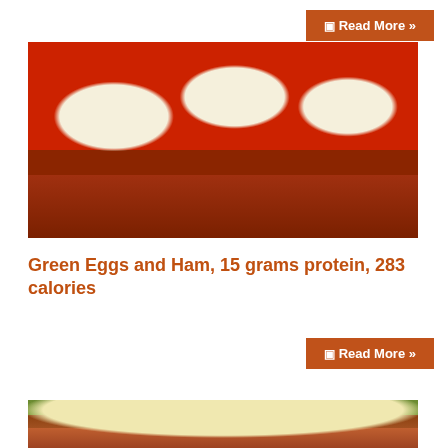[Figure (photo): Read More button (orange) at top right]
[Figure (photo): Photo of deviled eggs topped with green filling on a red plate, with strips of bacon/ham in the foreground]
Green Eggs and Ham, 15 grams protein, 283 calories
[Figure (photo): Read More button (orange) below title]
[Figure (photo): Partial photo of a food item with melted white cheese on top, on a green plate, bottom of page]